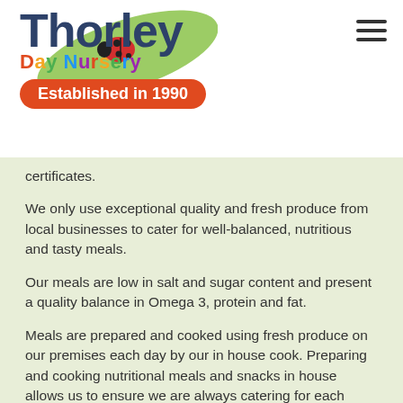[Figure (logo): Thorley Day Nursery logo with colorful text, leaf and ladybug illustration, and 'Established in 1990' red badge]
certificates.
We only use exceptional quality and fresh produce from local businesses to cater for well-balanced, nutritious and tasty meals.
Our meals are low in salt and sugar content and present a quality balance in Omega 3, protein and fat.
Meals are prepared and cooked using fresh produce on our premises each day by our in house cook. Preparing and cooking nutritional meals and snacks in house allows us to ensure we are always catering for each child's dietary needs.  We are highly responsive to food